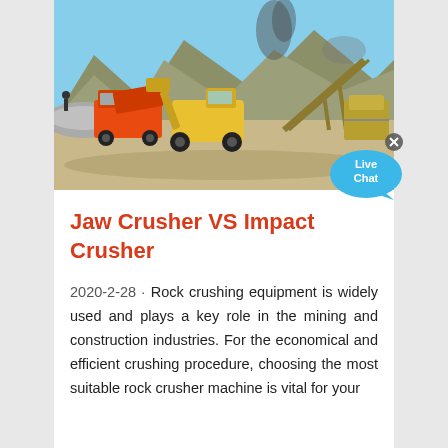[Figure (photo): Outdoor mining site with a large yellow wheel loader and orange dump truck operating among rock crushing equipment and conveyor structures. Dust and mountains visible in background under clear sky.]
Jaw Crusher VS Impact Crusher
2020-2-28 · Rock crushing equipment is widely used and plays a key role in the mining and construction industries. For the economical and efficient crushing procedure, choosing the most suitable rock crusher machine is vital for your